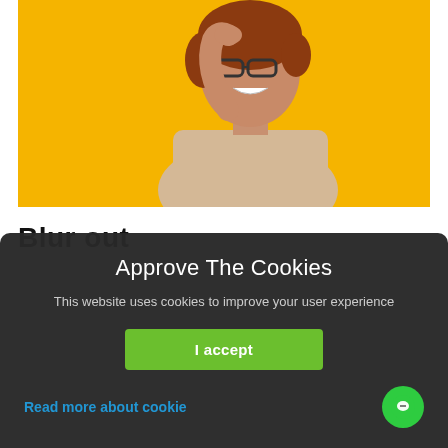[Figure (photo): A woman with short red hair, wearing glasses and a beige strapless dress, laughing and posing against a bright yellow background.]
Blur out
Approve The Cookies
This website uses cookies to improve your user experience
I accept
Read more about cookie